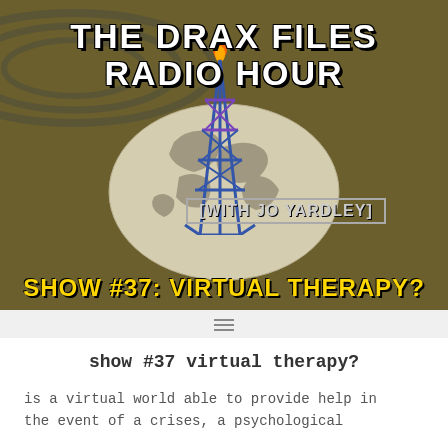[Figure (illustration): Podcast cover art for 'The Drax Files Radio Hour with Jo Yardley'. Dark olive/brown background with radio tower graphic in blue and purple colors centered over a globe showing Europe/Africa. Concentric radio wave rings emanate from top. Text overlays: 'THE DRAX FILES RADIO HOUR' at top, '[WITH JO YARDLEY]' in middle, 'SHOW #37: VIRTUAL THERAPY?' at bottom in yellow/gold chunky font.]
show #37 virtual therapy?
is a virtual world able to provide help in the event of a crises, a psychological